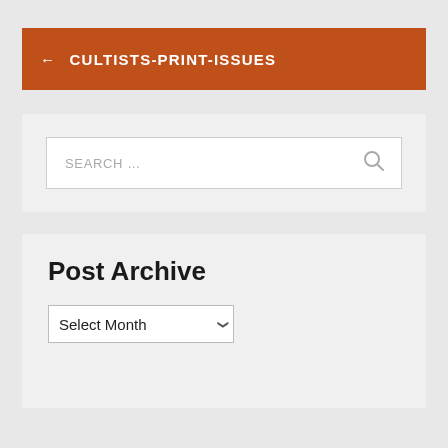← CULTISTS-PRINT-ISSUES
[Figure (screenshot): Search input box with placeholder text 'SEARCH ...' and a magnifying glass icon on the right]
Post Archive
Select Month (dropdown)